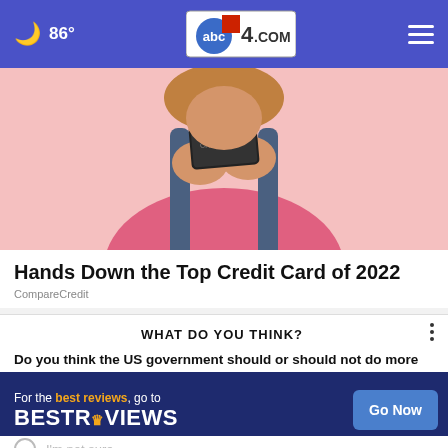🌙 86° | abc4.com
[Figure (photo): Person in pink shirt and denim overalls holding a credit card with both hands, pink background]
Hands Down the Top Credit Card of 2022
CompareCredit
WHAT DO YOU THINK?
Do you think the US government should or should not do more to financially support its citizens?
Yes, I think it should
No, I think it should not
I'm not sure
[Figure (infographic): BestReviews advertisement banner: 'For the best reviews, go to BESTREVIEWS' with 'Go Now' button]